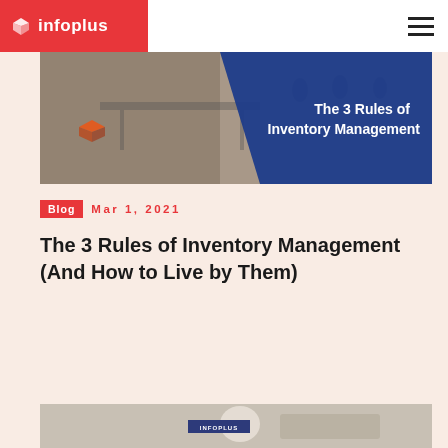infoplus
[Figure (photo): Warehouse or office interior photo with blue overlay showing text 'The 3 Rules of Inventory Management' with infoplus logo]
Blog  Mar 1, 2021
The 3 Rules of Inventory Management (And How to Live by Them)
[Figure (photo): Photo of a desk/workspace with a mug and keyboard, with INFOPLUS label overlay]